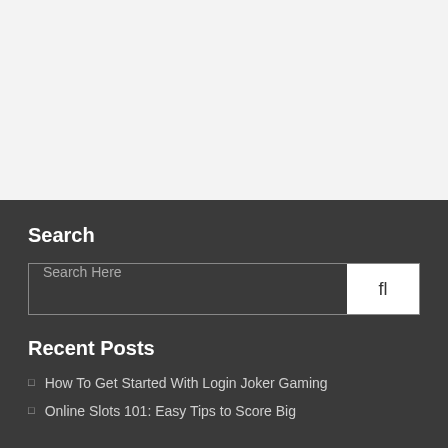Search
Search Here
Recent Posts
How To Get Started With Login Joker Gaming
Online Slots 101: Easy Tips to Score Big